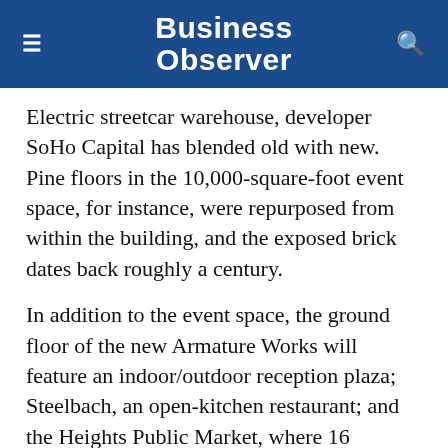Business Observer
Electric streetcar warehouse, developer SoHo Capital has blended old with new. Pine floors in the 10,000-square-foot event space, for instance, were repurposed from within the building, and the exposed brick dates back roughly a century.
In addition to the event space, the ground floor of the new Armature Works will feature an indoor/outdoor reception plaza; Steelbach, an open-kitchen restaurant; and the Heights Public Market, where 16 different vendors will ply their wares.